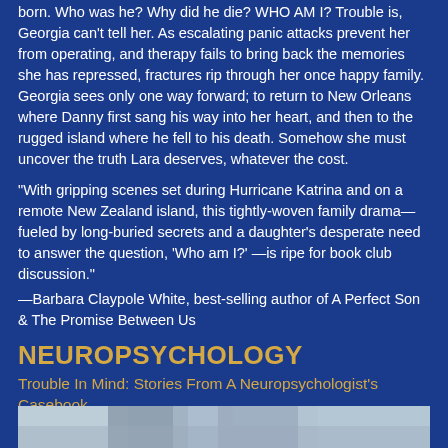born. Who was he? Why did he die? WHO AM I? Trouble is, Georgia can't tell her. As escalating panic attacks prevent her from operating, and therapy fails to bring back the memories she has repressed, fractures rip through her once happy family. Georgia sees only one way forward; to return to New Orleans where Danny first sang his way into her heart, and then to the rugged island where he fell to his death. Somehow she must uncover the truth Lara deserves, whatever the cost.
"With gripping scenes set during Hurricane Katrina and on a remote New Zealand island, this tightly-woven family drama—fueled by long-buried secrets and a daughter's desperate need to answer the question, 'Who am I?' —is ripe for book club discussion." —Barbara Claypole White, best-selling author of A Perfect Son & The Promise Between Us
NEUROPSYCHOLOGY
Trouble In Mind: Stories From A Neuropsychologist's Casebook
[Figure (photo): Partial bottom image strip showing a blurred photograph related to the book]